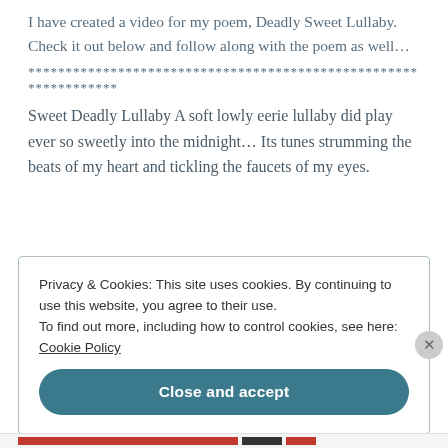I have created a video for my poem, Deadly Sweet Lullaby. Check it out below and follow along with the poem as well…
****************************************************************
Sweet Deadly Lullaby A soft lowly eerie lullaby did play ever so sweetly into the midnight… Its tunes strumming the beats of my heart and tickling the faucets of my eyes.
Privacy & Cookies: This site uses cookies. By continuing to use this website, you agree to their use. To find out more, including how to control cookies, see here: Cookie Policy
Close and accept